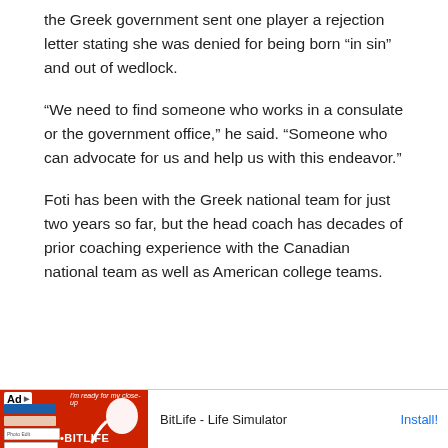the Greek government sent one player a rejection letter stating she was denied for being born “in sin” and out of wedlock.
“We need to find someone who works in a consulate or the government office,” he said. “Someone who can advocate for us and help us with this endeavor.”
Foti has been with the Greek national team for just two years so far, but the head coach has decades of prior coaching experience with the Canadian national team as well as American college teams.
[Figure (other): Advertisement banner for BitLife - Life Simulator app with red background, app screenshots, sperm logo, and Install button]